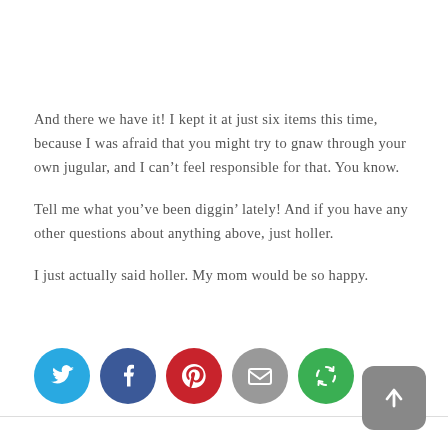And there we have it! I kept it at just six items this time, because I was afraid that you might try to gnaw through your own jugular, and I can't feel responsible for that. You know.
Tell me what you've been diggin' lately! And if you have any other questions about anything above, just holler.
I just actually said holler. My mom would be so happy.
[Figure (infographic): Row of five social sharing icon buttons: Twitter (blue), Facebook (dark blue), Pinterest (red), Email (grey), and a share/cycle icon (green). A grey rounded-square back-to-top arrow button appears in the lower right.]